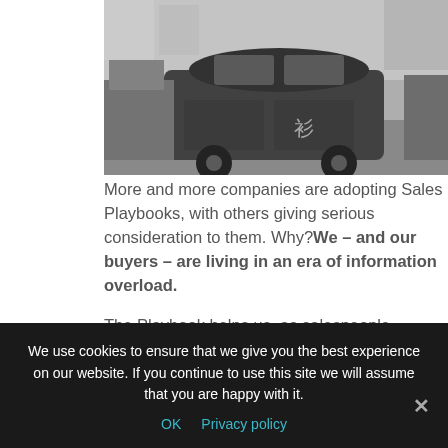[Figure (photo): Black and white photograph of a vintage car on a street, with other vehicles visible in the background.]
More and more companies are adopting Sales Playbooks, with others giving serious consideration to them. Why? We – and our buyers – are living in an era of information overload.
The Playbook helps us, as salespeople, speedily cut to the chase and focus on what is truly important, cutting out the "noise".
However, we do need to be careful here. Salespeople tend to reject what is or can be perceived as heavy-
We use cookies to ensure that we give you the best experience on our website. If you continue to use this site we will assume that you are happy with it.
OK   Privacy policy